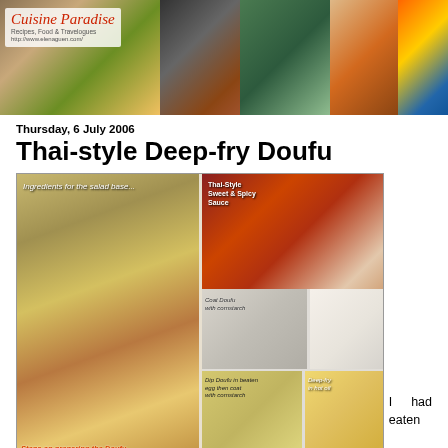[Figure (photo): Blog header banner for 'Cuisine Paradise - Recipes, Food & Travelogues' showing a collage of food photos including salads, grilled meats, and various dishes, with the blog logo overlaid on the left]
Thursday, 6 July 2006
Thai-style Deep-fry Doufu
[Figure (photo): Composite food photo showing steps for preparing Thai-style Deep-fry Doufu: ingredients for salad base (bean sprouts, tomatoes), Thai-style sweet & spicy sauce in a bowl, steps showing coat doufu with cornstarch, dip doufu in beaten egg then coat with cornstarch, deep-fry in hot oil, and tofu cubes. Watermark reads 'Elena Guen @ Cuisine Paradise']
I had eaten this "Thai-style Deep-fry Doufu" twice from the Sembawang SAF Yacht Club restaurant. I love the